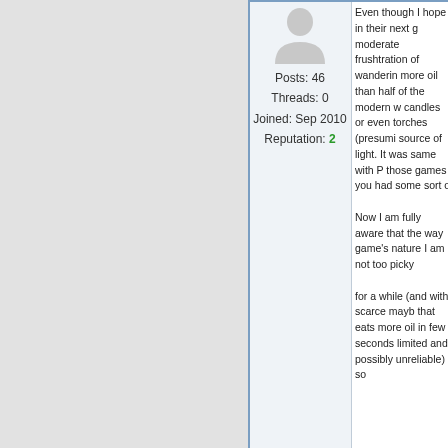[Figure (illustration): Default user avatar icon (gray silhouette of a person)]
Posts: 46
Threads: 0
Joined: Sep 2010
Reputation: 2
Even though I hope in their next g moderate frushtration of wanderin more oil than half of the modern w candles or even torches (presumi source of light. It was same with P those games you had some sort o

Now I am fully aware that the way game's nature I am not too picky

for a while (and with scarce mayb that eats more oil in few seconds limited and possibly unreliable) so
09-27-2010, 11:25 AM
FIND
« Next Oldest | Next Newest »
Pages (438): 1 2 3 4 5 ... 438 Next »
View a Printable Version
Users browsing this thread: 3 Guest(s)
Default  Go